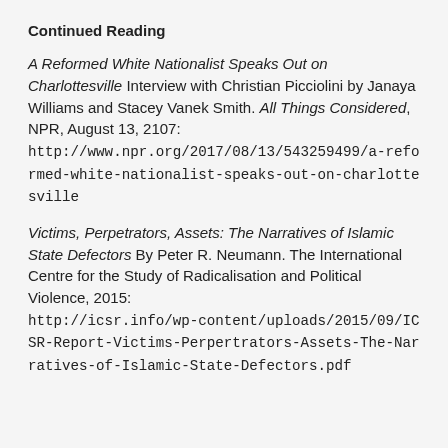Continued Reading
A Reformed White Nationalist Speaks Out on Charlottesville Interview with Christian Picciolini by Janaya Williams and Stacey Vanek Smith. All Things Considered, NPR, August 13, 2107: http://www.npr.org/2017/08/13/543259499/a-reformed-white-nationalist-speaks-out-on-charlottesville
Victims, Perpetrators, Assets: The Narratives of Islamic State Defectors By Peter R. Neumann. The International Centre for the Study of Radicalisation and Political Violence, 2015: http://icsr.info/wp-content/uploads/2015/09/ICSR-Report-Victims-Perpertrators-Assets-The-Narratives-of-Islamic-State-Defectors.pdf